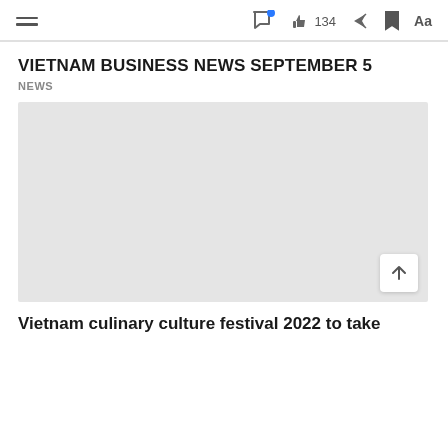Menu | Comments | 134 likes | Share | Bookmark | Aa
VIETNAM BUSINESS NEWS SEPTEMBER 5
NEWS
[Figure (photo): Large image placeholder (grey rectangle) for the article]
Vietnam culinary culture festival 2022 to take